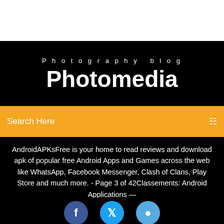Photography blog
Photomedia
Search Here
AndroidAPKsFree is your home to read reviews and download apk of popular free Android Apps and Games across the web like WhatsApp, Facebook Messenger, Clash of Clans, Play Store and much more. - Page 3 of 42Classements: Android Applications — AppAgghttps://appagg.com/votes/androidTravailler, jouer, apprendre et créer avec les applications. Classements: Android Applications.
[Figure (illustration): Three social media icon circles at bottom: Facebook (blue), Twitter (blue), Instagram (light blue)]